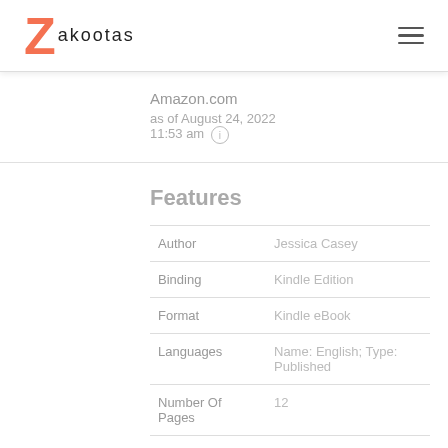Zakootas
Amazon.com
as of August 24, 2022
11:53 am
Features
|  |  |
| --- | --- |
| Author | Jessica Casey |
| Binding | Kindle Edition |
| Format | Kindle eBook |
| Languages | Name: English; Type: Published |
| Number Of Pages | 12 |